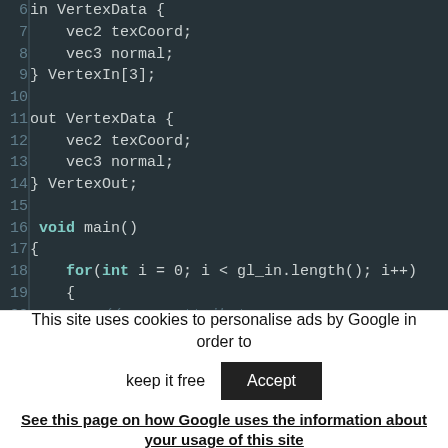[Figure (screenshot): Code editor screenshot showing GLSL geometry shader code, lines 6-26, dark theme. Lines include VertexData structs, void main(), for loop with gl_in.length(), and body assigning gl_Position, VertexOut.normal, VertexOut.texCoord, with comments.]
This site uses cookies to personalise ads by Google in order to
keep it free  Accept
See this page on how Google uses the information about your usage of this site